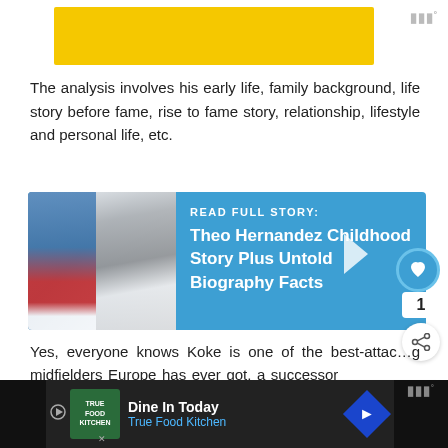[Figure (other): Yellow advertisement banner at top of page]
The analysis involves his early life, family background, life story before fame, rise to fame story, relationship, lifestyle and personal life, etc.
[Figure (other): Blue promotional card with photos of Theo Hernandez and text: READ FULL STORY: Theo Hernandez Childhood Story Plus Untold Biography Facts]
Yes, everyone knows Koke is one of the best-attaching midfielders Europe has ever got, a successor eye for goal.
[Figure (other): What's Next panel showing Erik Lamela Childhood... thumbnail]
[Figure (other): Bottom advertisement bar: True Food Kitchen - Dine In Today]